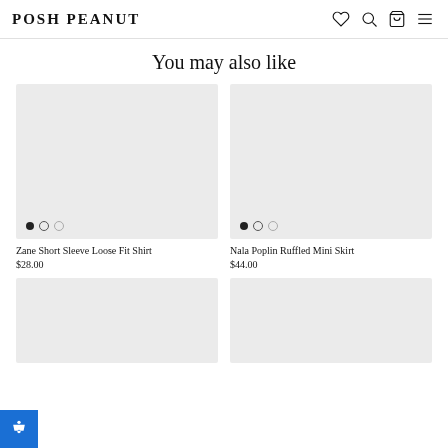POSH PEANUT
You may also like
[Figure (photo): Product image placeholder for Zane Short Sleeve Loose Fit Shirt, light gray rectangle with three pagination dots at bottom left]
Zane Short Sleeve Loose Fit Shirt
$28.00
[Figure (photo): Product image placeholder for Nala Poplin Ruffled Mini Skirt, light gray rectangle with three pagination dots at bottom left]
Nala Poplin Ruffled Mini Skirt
$44.00
[Figure (photo): Product image placeholder (bottom left), partially visible]
[Figure (photo): Product image placeholder (bottom right), partially visible]